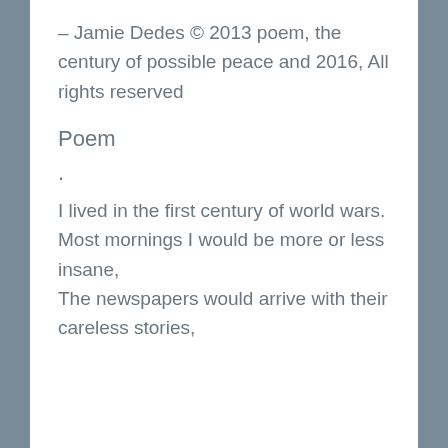– Jamie Dedes © 2013 poem, the century of possible peace and 2016, All rights reserved
Poem
.
I lived in the first century of world wars.
Most mornings I would be more or less insane,
The newspapers would arrive with their careless stories,